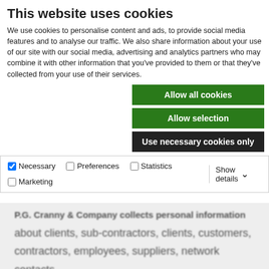This website uses cookies
We use cookies to personalise content and ads, to provide social media features and to analyse our traffic. We also share information about your use of our site with our social media, advertising and analytics partners who may combine it with other information that you've provided to them or that they've collected from your use of their services.
Allow all cookies
Allow selection
Use necessary cookies only
| Necessary | Preferences | Statistics | Marketing | Show details |
| --- | --- | --- | --- | --- |
P.G. Cranny & Company collects personal information about clients, sub-contractors, clients, customers, contractors, employees, suppliers, network contacts through the web site forms, telephone calls, emails, digital needs analysis, social media process.
How we use your personal data